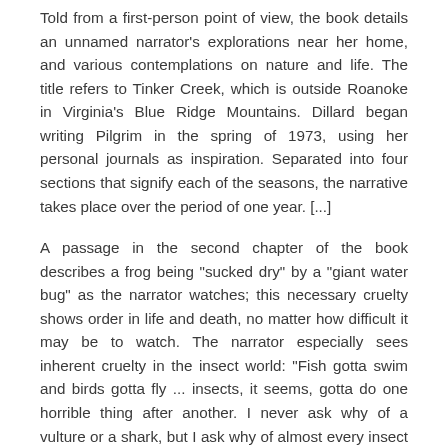Told from a first-person point of view, the book details an unnamed narrator's explorations near her home, and various contemplations on nature and life. The title refers to Tinker Creek, which is outside Roanoke in Virginia's Blue Ridge Mountains. Dillard began writing Pilgrim in the spring of 1973, using her personal journals as inspiration. Separated into four sections that signify each of the seasons, the narrative takes place over the period of one year. [...]
A passage in the second chapter of the book describes a frog being "sucked dry" by a "giant water bug" as the narrator watches; this necessary cruelty shows order in life and death, no matter how difficult it may be to watch. The narrator especially sees inherent cruelty in the insect world: "Fish gotta swim and birds gotta fly ... insects, it seems, gotta do one horrible thing after another. I never ask why of a vulture or a shark, but I ask why of almost every insect I see. More than one insect ... is an assault on all